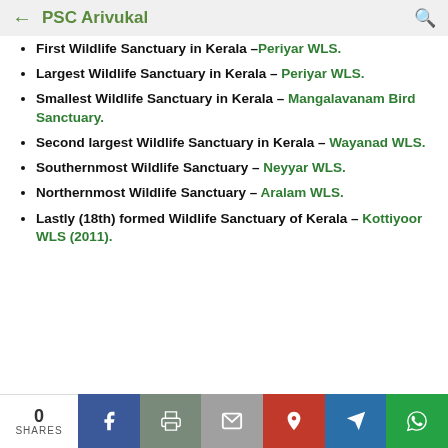PSC Arivukal
First Wildlife Sanctuary in Kerala – Periyar WLS.
Largest Wildlife Sanctuary in Kerala – Periyar WLS.
Smallest Wildlife Sanctuary in Kerala – Mangalavanam Bird Sanctuary.
Second largest Wildlife Sanctuary in Kerala – Wayanad WLS.
Southernmost Wildlife Sanctuary – Neyyar WLS.
Northernmost Wildlife Sanctuary – Aralam WLS.
Lastly (18th) formed Wildlife Sanctuary of Kerala – Kottiyoor WLS (2011).
0 SHARES | Facebook | Print | Mail | Pinterest | Telegram | WhatsApp